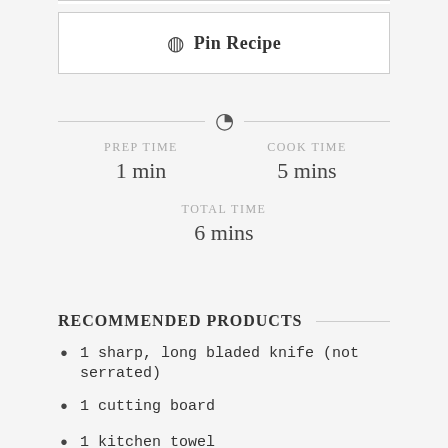Pin Recipe
PREP TIME 1 min | COOK TIME 5 mins | TOTAL TIME 6 mins
RECOMMENDED PRODUCTS
1 sharp, long bladed knife (not serrated)
1 cutting board
1 kitchen towel